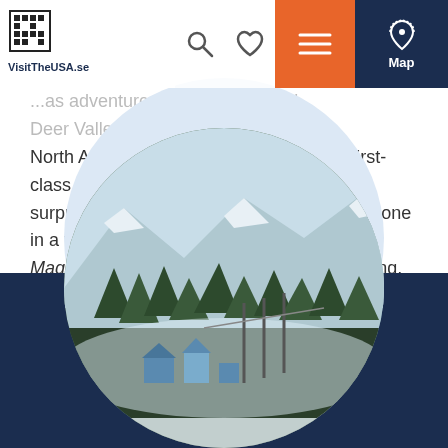VisitTheUSA.se | Search | Favorite | Menu | Map
North American ski resort to provide the first-class service of a five-star hotel. Not surprisingly, it's consistently ranked number one in a variety of categories by readers of SKI Magazine. In addition to the world-class skiing, visitors to Park City can enjoy plenty of winter fun off the mountain such as dog sledding, snowmobiling, snow tubing and
Read More ↓
[Figure (photo): Circular cropped photo of a snow-covered mountain ski resort with pine trees and houses, set against a dark navy blue background section.]